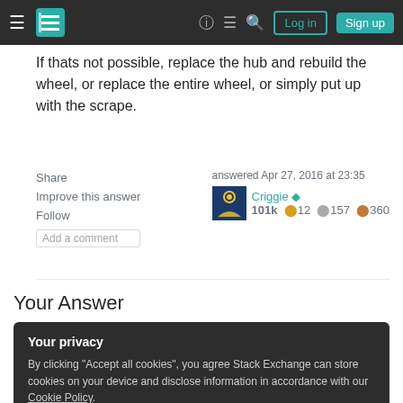Stack Exchange navigation bar with hamburger menu, logo, help, chat, search, Log in, Sign up buttons
If thats not possible, replace the hub and rebuild the wheel, or replace the entire wheel, or simply put up with the scrape.
Share
Improve this answer
Follow
Add a comment
answered Apr 27, 2016 at 23:35
Criggie ◆
101k 🥇12 🥈157 🥉360
Your Answer
Your privacy
By clicking "Accept all cookies", you agree Stack Exchange can store cookies on your device and disclose information in accordance with our Cookie Policy.
Accept all cookies   Customize settings